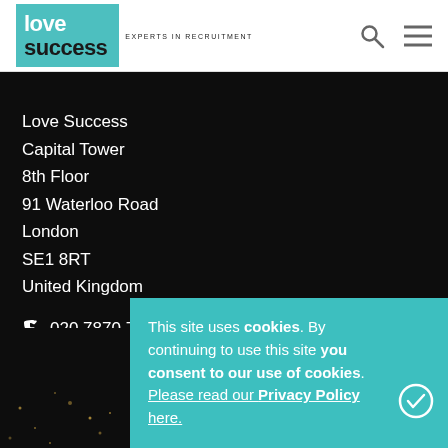Love Success — Experts in Recruitment
Love Success
Capital Tower
8th Floor
91 Waterloo Road
London
SE1 8RT
United Kingdom
020 7870 7177
info@lovesuccess.co.uk
This site uses cookies. By continuing to use this site you consent to our use of cookies. Please read our Privacy Policy here.